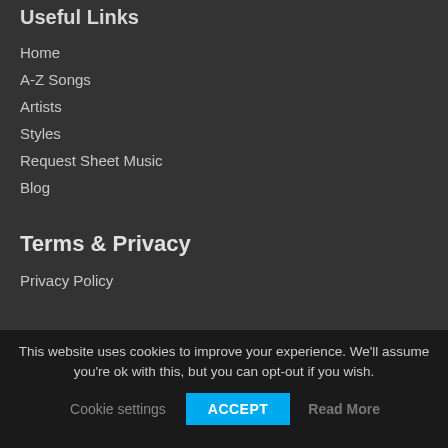Useful Links
Home
A-Z Songs
Artists
Styles
Request Sheet Music
Blog
Terms & Privacy
Privacy Policy
This website uses cookies to improve your experience. We'll assume you're ok with this, but you can opt-out if you wish.
Cookie settings  ACCEPT  Read More